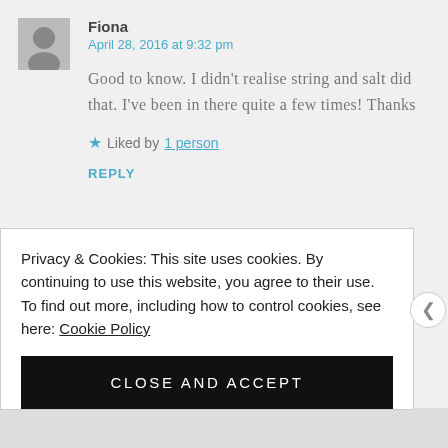[Figure (illustration): Gray silhouette avatar/user profile icon placeholder image]
Fiona
April 28, 2016 at 9:32 pm
Good to know. I didn't realise string and salt did that. I've been in there quite a few times! Thanks
★ Liked by 1 person
REPLY
Privacy & Cookies: This site uses cookies. By continuing to use this website, you agree to their use.
To find out more, including how to control cookies, see here: Cookie Policy
CLOSE AND ACCEPT